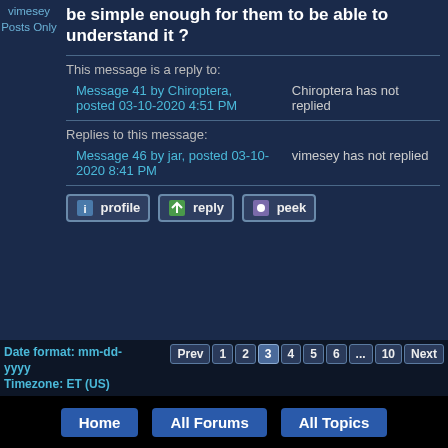vimesey Posts Only
be simple enough for them to be able to understand it ?
This message is a reply to:
Message 41 by Chiroptera, posted 03-10-2020 4:51 PM
Chiroptera has not replied
Replies to this message:
Message 46 by jar, posted 03-10-2020 8:41 PM
vimesey has not replied
profile
reply
peek
Date format: mm-dd-yyyy
Timezone: ET (US)
Prev 1 2 3 4 5 6 ... 10 Next
Newer Topic | Older Topic
Jump to:
New Topic
Faith and Belief
Gen Reply
Home
All Forums
All Topics